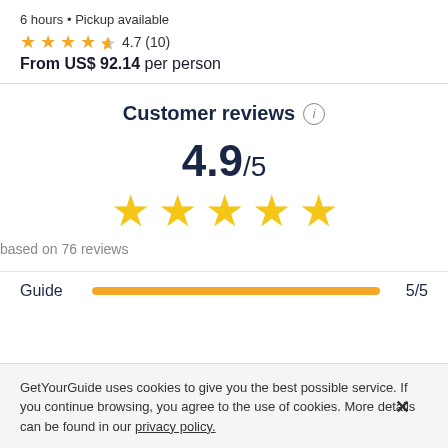6 hours • Pickup available
4.7 (10)
From US$ 92.14 per person
Customer reviews
4.9/5
based on 76 reviews
Guide  5/5
GetYourGuide uses cookies to give you the best possible service. If you continue browsing, you agree to the use of cookies. More details can be found in our privacy policy.